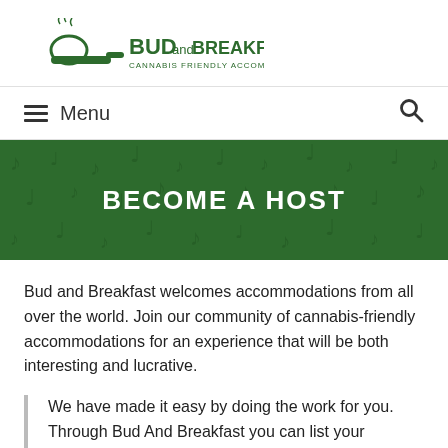[Figure (logo): Bud and Breakfast logo with pipe icon emitting smoke, green text reading BUDandBREAKFAST.com and subtitle CANNABIS FRIENDLY ACCOMMODATIONS WORLDWIDE]
≡ Menu
BECOME A HOST
Bud and Breakfast welcomes accommodations from all over the world. Join our community of cannabis-friendly accommodations for an experience that will be both interesting and lucrative.
We have made it easy by doing the work for you. Through Bud And Breakfast you can list your vacation accommodations so travelers who are looking for a host who understands the